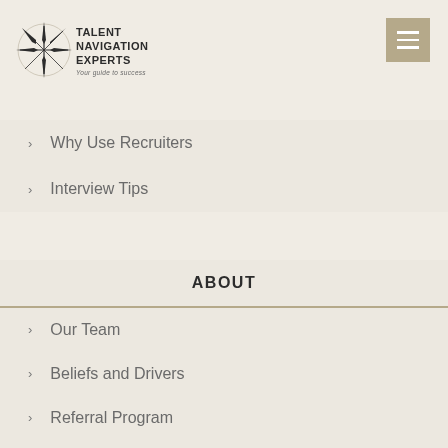[Figure (logo): Talent Navigation Experts logo with compass rose graphic and tagline 'Your guide to success']
Why Use Recruiters
Interview Tips
ABOUT
Our Team
Beliefs and Drivers
Referral Program
Our Philanthropy
Videos